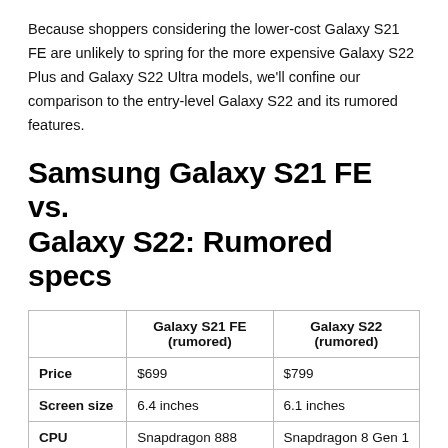Because shoppers considering the lower-cost Galaxy S21 FE are unlikely to spring for the more expensive Galaxy S22 Plus and Galaxy S22 Ultra models, we'll confine our comparison to the entry-level Galaxy S22 and its rumored features.
Samsung Galaxy S21 FE vs. Galaxy S22: Rumored specs
|  | Galaxy S21 FE (rumored) | Galaxy S22 (rumored) |
| --- | --- | --- |
| Price | $699 | $799 |
| Screen size | 6.4 inches | 6.1 inches |
| CPU | Snapdragon 888 | Snapdragon 8 Gen 1 |
| Rear cameras | 12MP main; 12MP ultrawide; 8MP telephoto | 50MP main; 12MP ultrawide, 12MP telephoto |